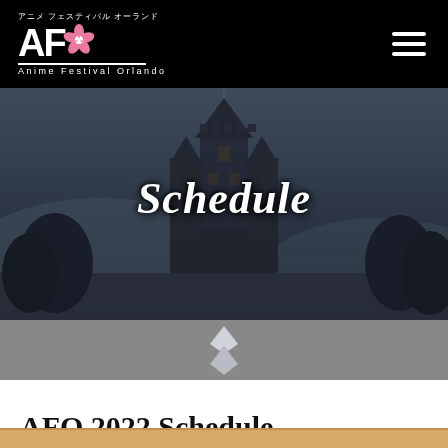[Figure (logo): Anime Festival Orlando (AFO) logo with Japanese text アニメ フェスティバル オーランド above, stylized AFO letters with cherry blossom, and 'Anime Festival Orlando' text below, on black background]
[Figure (illustration): Hero banner with dark castle/fantasy illustration background and 'Schedule' text overlay in white serif font]
[Figure (other): Grey divider strip with diamond/rhombus decorative shape in center]
AFO 2022 Schedule
[Figure (screenshot): Bottom edge of a table/schedule screenshot partially visible]